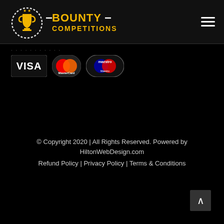[Figure (logo): Bounty Competitions logo with trophy icon and text BOUNTY COMPETITIONS in gold]
[Figure (other): Hamburger menu icon (three horizontal white lines)]
VISA   MasterCard   Maestro payment icons
© Copyright 2020 | All Rights Reserved. Powered by HiltonWebDesign.com
Refund Policy | Privacy Policy | Terms & Conditions